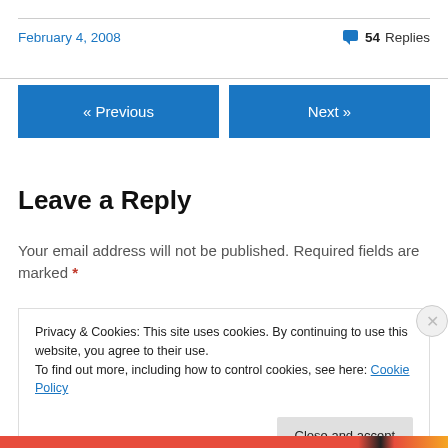February 4, 2008
💬 54 Replies
« Previous
Next »
Leave a Reply
Your email address will not be published. Required fields are marked *
Privacy & Cookies: This site uses cookies. By continuing to use this website, you agree to their use.
To find out more, including how to control cookies, see here: Cookie Policy
Close and accept